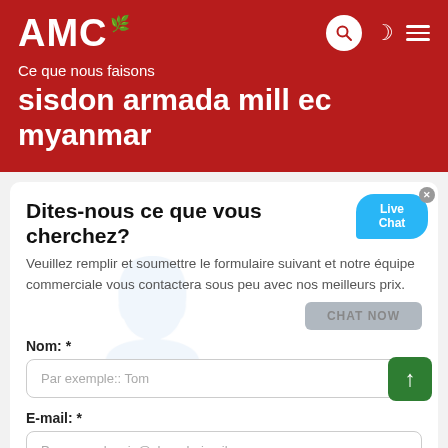AMC
Ce que nous faisons
sisdon armada mill ec myanmar
Dites-nous ce que vous cherchez?
Veuillez remplir et soumettre le formulaire suivant et notre équipe commerciale vous contactera sous peu avec nos meilleurs prix.
Nom: *
Par exemple:: Tom
E-mail: *
Par exemple: vip@shanghaimeilan.com
Téléphoner: *